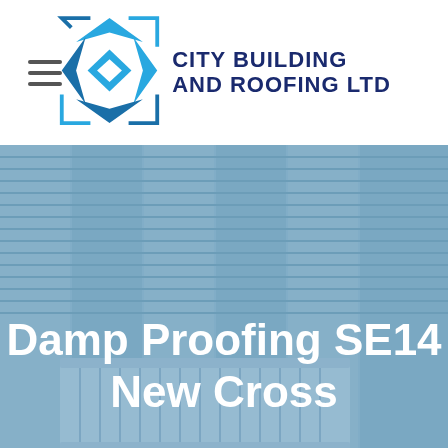[Figure (logo): City Building and Roofing Ltd logo with diamond/chevron shape in blue tones and company name in dark navy bold text]
[Figure (photo): Hero image showing plantation shutters and a radiator with a blue overlay tint, text overlay reads 'Damp Proofing SE14 New Cross']
Damp Proofing SE14 New Cross